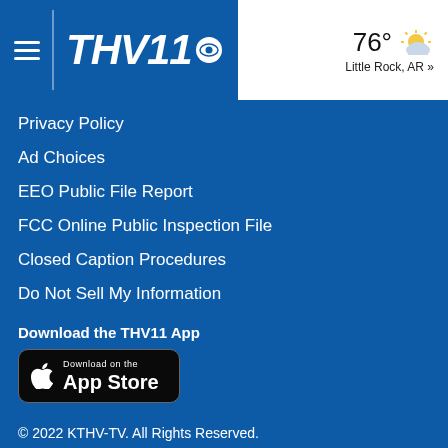[Figure (logo): THV11 CBS TV station logo with hamburger menu icon in blue header]
[Figure (infographic): Weather widget showing 76° with partly cloudy icon, Little Rock, AR »]
Privacy Policy
Ad Choices
EEO Public File Report
FCC Online Public Inspection File
Closed Caption Procedures
Do Not Sell My Information
Download the THV11 App
[Figure (screenshot): Download on the App Store button (Apple)]
© 2022 KTHV-TV. All Rights Reserved.